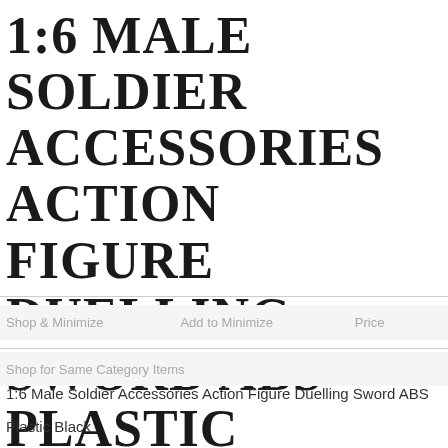1:6 MALE SOLDIER ACCESSORIES ACTION FIGURE DUELLING SWORD ABS PLASTIC BLACK
1:6 Male Soldier Accessories Action Figure Duelling Sword ABS
Plastic Black